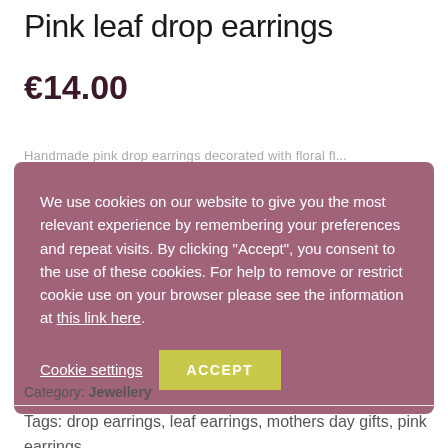Pink leaf drop earrings
€14.00
We use cookies on our website to give you the most relevant experience by remembering your preferences and repeat visits. By clicking "Accept", you consent to the use of these cookies. For help to remove or restrict cookie use on your browser please see the information at this link here.
Cookie settings   ACCEPT
Category: Jewellery
Tags: drop earrings, leaf earrings, mothers day gifts, pink earrings